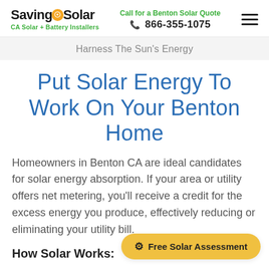SavingOnSolar — CA Solar + Battery Installers | Call for a Benton Solar Quote 866-355-1075
Harness The Sun's Energy
Put Solar Energy To Work On Your Benton Home
Homeowners in Benton CA are ideal candidates for solar energy absorption. If your area or utility offers net metering, you'll receive a credit for the excess energy you produce, effectively reducing or eliminating your utility bill.
How Solar Works: